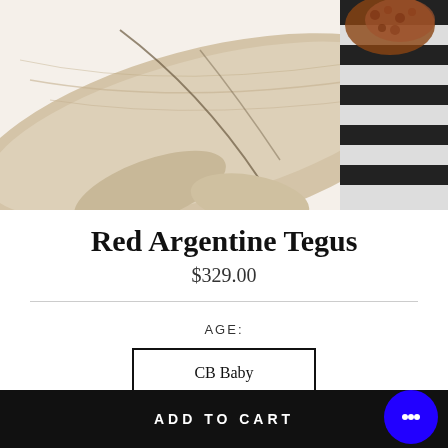[Figure (photo): Close-up photo of a Red Argentine Tegu lizard with black and white striped tail and reddish markings on its head, sitting on a pale driftwood branch against a white background.]
Red Argentine Tegus
$329.00
AGE:
CB Baby
ADD TO CART